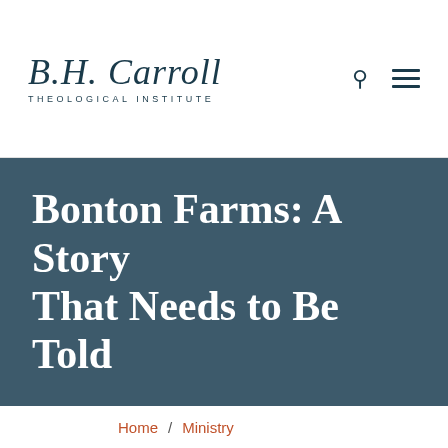B.H. Carroll Theological Institute
Bonton Farms: A Story That Needs to Be Told
Home / Ministry